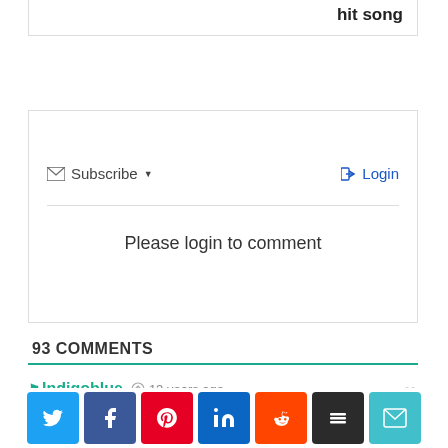hit song
[Figure (screenshot): Comment login box with Subscribe and Login options, and 'Please login to comment' message]
93 COMMENTS
Indigoblue  13 years ago
[Figure (screenshot): Social share buttons: Twitter, Facebook, Pinterest, LinkedIn, Reddit, Buffer, Email]